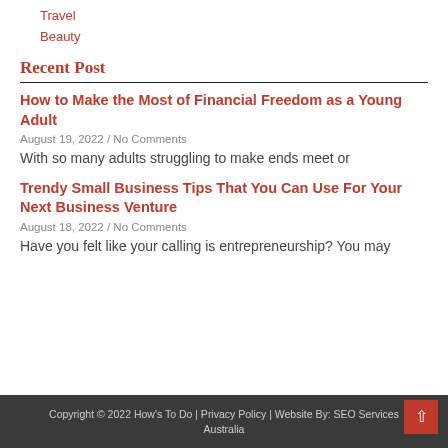Travel
Beauty
Recent Post
How to Make the Most of Financial Freedom as a Young Adult
August 19, 2022 / No Comments
With so many adults struggling to make ends meet or
Trendy Small Business Tips That You Can Use For Your Next Business Venture
August 18, 2022 / No Comments
Have you felt like your calling is entrepreneurship? You may
Copyright © 2022 How's To Do | Privacy Policy | Website By: SEO Services Australia